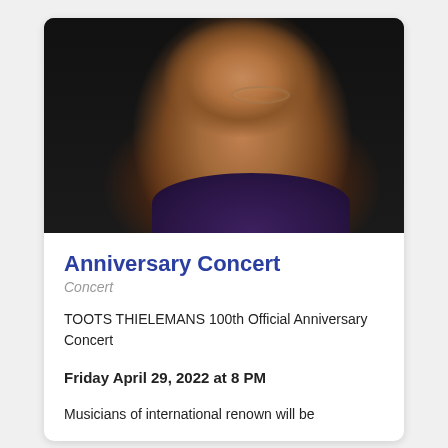[Figure (photo): Close-up portrait photo of an elderly man with glasses, mustache, wearing a dark purple shirt, photographed against a dark background. The man appears to be smiling or looking upward.]
Anniversary Concert
Concert
TOOTS THIELEMANS 100th Official Anniversary Concert
Friday April 29, 2022 at 8 PM
Musicians of international renown will be